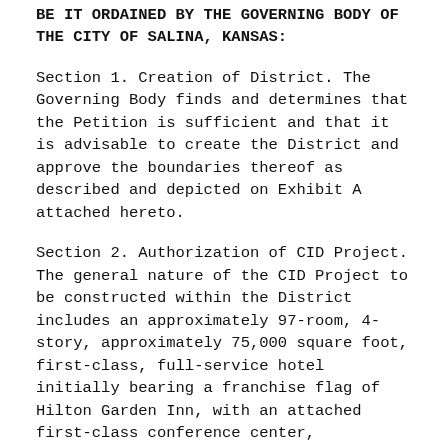BE IT ORDAINED BY THE GOVERNING BODY OF THE CITY OF SALINA, KANSAS:
Section 1. Creation of District. The Governing Body finds and determines that the Petition is sufficient and that it is advisable to create the District and approve the boundaries thereof as described and depicted on Exhibit A attached hereto.
Section 2. Authorization of CID Project. The general nature of the CID Project to be constructed within the District includes an approximately 97-room, 4-story, approximately 75,000 square foot, first-class, full-service hotel initially bearing a franchise flag of Hilton Garden Inn, with an attached first-class conference center, consisting of approximately 11,400 square feet of public meeting space (plus hallways and back-of-house storage areas) capable of seating approximately 500 people in the main ballroom with appropriate small meeting and pre-function space, generally described as a hotel and conference center, all as more particularly